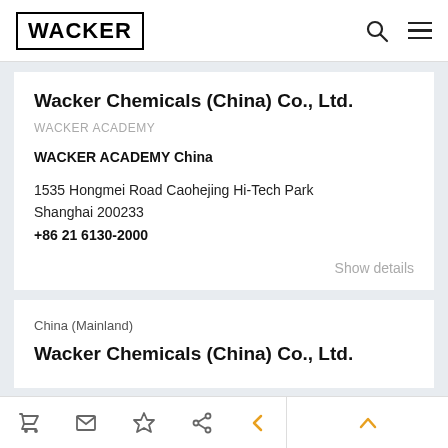WACKER
Wacker Chemicals (China) Co., Ltd.
WACKER ACADEMY
WACKER ACADEMY China
1535 Hongmei Road Caohejing Hi-Tech Park
Shanghai 200233
+86 21 6130-2000
Show details
China (Mainland)
Wacker Chemicals (China) Co., Ltd.
🛒 ✉ ★ ⋮< <